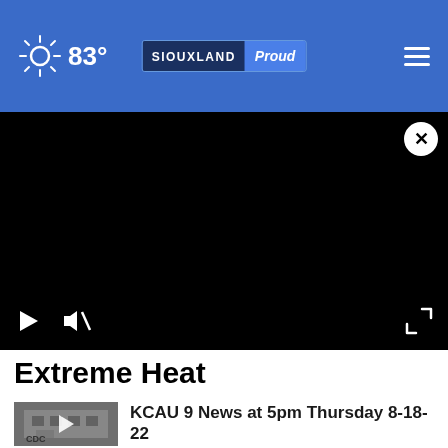83° SIOUXLAND Proud
[Figure (screenshot): Black video player area with close (X) button in top right, play and mute controls at bottom left, fullscreen icon at bottom right]
Extreme Heat
[Figure (screenshot): Thumbnail of CDC building with play button overlay]
KCAU 9 News at 5pm Thursday 8-18-22